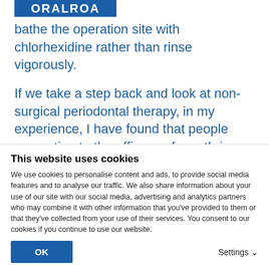ORALROA
bathe the operation site with chlorhexidine rather than rinse vigorously.
If we take a step back and look at non-surgical periodontal therapy, in my experience, I have found that people overestimate the efficacy of mouthrinses, and here I would say the biggest problem is making it clear to patients that, although they are using a mouthrinse, for example, after scaling and root planing, it is still more
This website uses cookies
We use cookies to personalise content and ads, to provide social media features and to analyse our traffic. We also share information about your use of our site with our social media, advertising and analytics partners who may combine it with other information that you've provided to them or that they've collected from your use of their services. You consent to our cookies if you continue to use our website.
OK
Settings